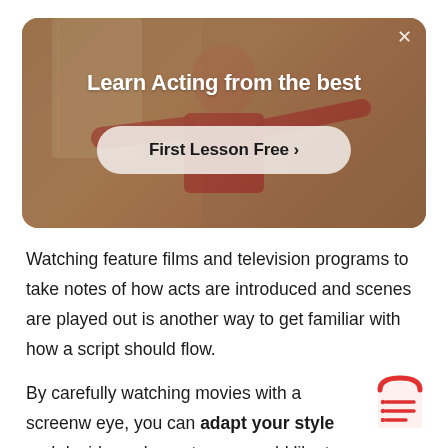[Figure (screenshot): An advertisement card with a warm-toned background photo of a person in a red top with arms outstretched, overlaid with white text 'Learn Acting from the best' and a pill-shaped button 'First Lesson Free >' with a close X button in the top right corner.]
Watching feature films and television programs to take notes of how acts are introduced and scenes are played out is another way to get familiar with how a script should flow.
By carefully watching movies with a screenw eye, you can adapt your style and decide w elements you would like to include in your